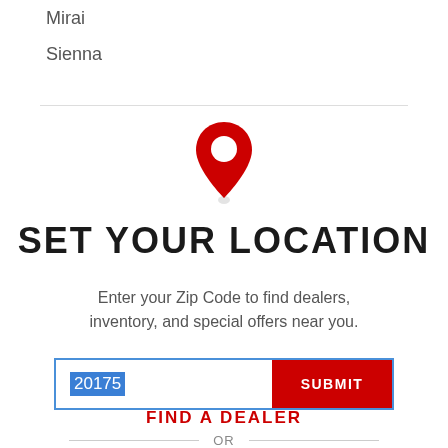Mirai
Sienna
[Figure (illustration): Red map pin / location marker icon, centered on page]
SET YOUR LOCATION
Enter your Zip Code to find dealers, inventory, and special offers near you.
20175  SUBMIT
OR
FIND A DEALER